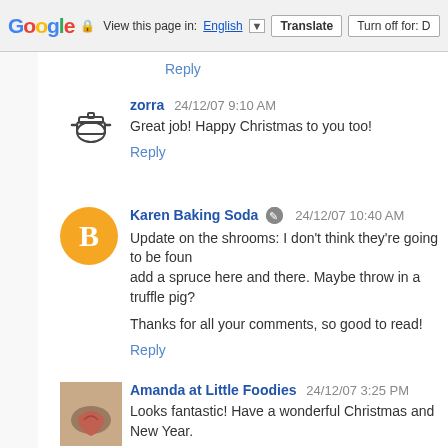Google  View this page in: English [▼]  Translate  Turn off for: D
Reply
zorra  24/12/07 9:10 AM
Great job! Happy Christmas to you too!
Reply
Karen Baking Soda  24/12/07 10:40 AM
Update on the shrooms: I don't think they're going to be found add a spruce here and there. Maybe throw in a truffle pig?

Thanks for all your comments, so good to read!
Reply
Amanda at Little Foodies  24/12/07 3:25 PM
Looks fantastic! Have a wonderful Christmas and New Year.
Reply